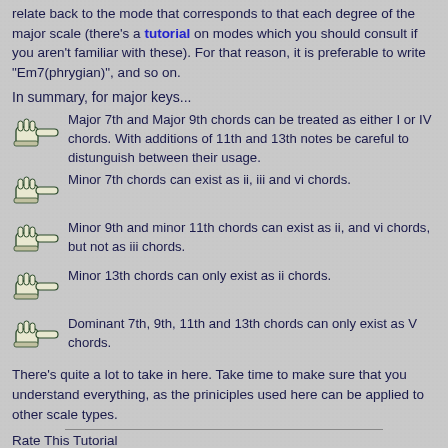relate back to the mode that corresponds to that each degree of the major scale (there's a tutorial on modes which you should consult if you aren't familiar with these). For that reason, it is preferable to write "Em7(phrygian)", and so on.
In summary, for major keys...
Major 7th and Major 9th chords can be treated as either I or IV chords. With additions of 11th and 13th notes be careful to distunguish between their usage.
Minor 7th chords can exist as ii, iii and vi chords.
Minor 9th and minor 11th chords can exist as ii, and vi chords, but not as iii chords.
Minor 13th chords can only exist as ii chords.
Dominant 7th, 9th, 11th and 13th chords can only exist as V chords.
There's quite a lot to take in here. Take time to make sure that you understand everything, as the priniciples used here can be applied to other scale types.
Rate This Tutorial